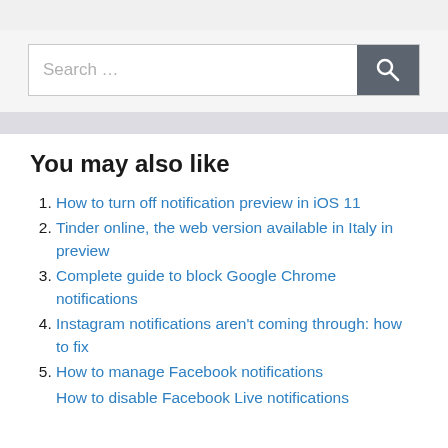[Figure (screenshot): Search bar with text input placeholder 'Search …' and a dark grey search button with magnifying glass icon]
You may also like
How to turn off notification preview in iOS 11
Tinder online, the web version available in Italy in preview
Complete guide to block Google Chrome notifications
Instagram notifications aren't coming through: how to fix
How to manage Facebook notifications
How to disable Facebook Live notifications